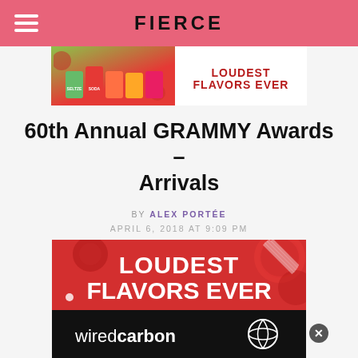FIERCE
[Figure (photo): Top banner advertisement for a seltzer/soda brand showing colorful cans with text 'LOUDEST FLAVORS EVER']
60th Annual GRAMMY Awards – Arrivals
BY ALEX PORTÉE
APRIL 6, 2018 AT 9:09 PM
[Figure (photo): Main advertisement image on red background showing 'LOUDEST FLAVORS EVER' text with colorful soda/seltzer cans]
[Figure (photo): Bottom advertisement for 'wiredcarbon' brand on black background]